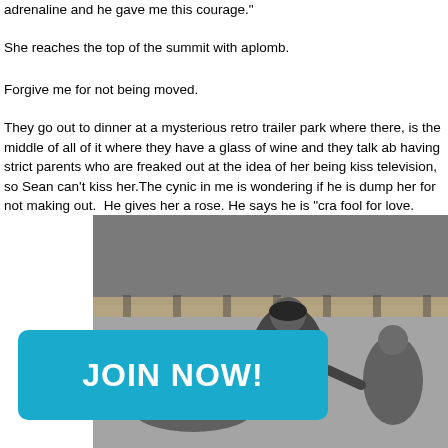adrenaline and he gave me this courage."
She reaches the top of the summit with aplomb.
Forgive me for not being moved.
They go out to dinner at a mysterious retro trailer park where there, is the middle of all of it where they have a glass of wine and they talk ab having strict parents who are freaked out at the idea of her being kiss television, so Sean can't kiss her.The cynic in me is wondering if he is dump her for not making out.  He gives her a rose. He says he is "cra fool for love.
[Figure (photo): Black and white photo of roller derby players, women in athletic gear on a rink, with crowd in background.]
JOIN NOW!